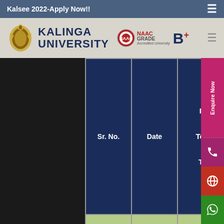Kalsee 2022-Apply Now!!
[Figure (logo): Kalinga University logo with eagle/shield crest and NAAC Grade B+ accreditation badge]
| Sr. No. | Date | Programs For Teaching & Non Teaching Staff |
| --- | --- | --- |
| 26 | 03-06-2015 | FDP Employee Conduct and Ethics. |
|  |  | FDP Quality |